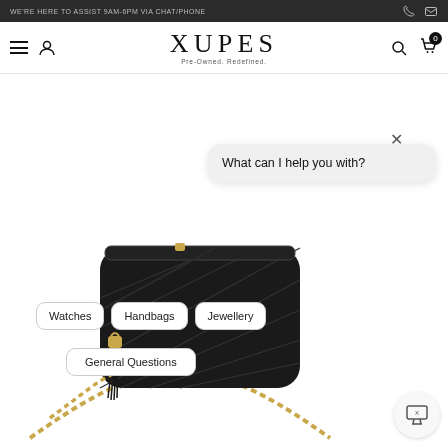WE'RE HERE TO ASSIST 9AM-6PM VIA CHAT/PHONE
XUPES
Pre-Owned. Redefined.
[Figure (screenshot): E-commerce website for Xupes pre-owned luxury goods showing a black quilted Chanel camera bag with gold chain strap and tassel, overlaid with a chat widget asking 'What can I help you with?' with buttons: Watches, Handbags, Jewellery, General Questions]
What can I help you with?
Watches
Handbags
Jewellery
General Questions